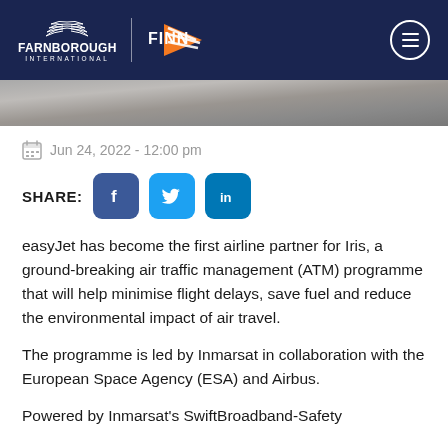Farnborough International | FINN
[Figure (photo): Aerial or runway photo strip used as hero image]
Jun 24, 2022 - 12:00 pm
SHARE: [Facebook] [Twitter] [LinkedIn]
easyJet has become the first airline partner for Iris, a ground-breaking air traffic management (ATM) programme that will help minimise flight delays, save fuel and reduce the environmental impact of air travel.
The programme is led by Inmarsat in collaboration with the European Space Agency (ESA) and Airbus.
Powered by Inmarsat's SwiftBroadband-Safety